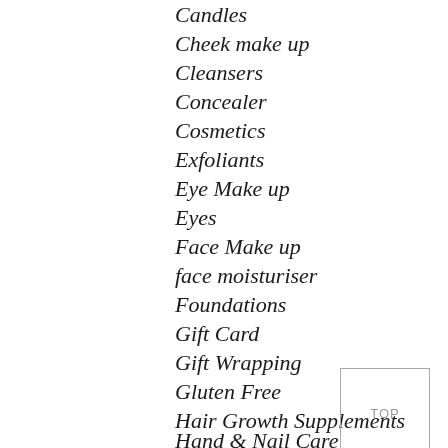Candles
Cheek make up
Cleansers
Concealer
Cosmetics
Exfoliants
Eye Make up
Eyes
Face Make up
face moisturiser
Foundations
Gift Card
Gift Wrapping
Gluten Free
Hair Growth Supplements
Hand & Nail Care